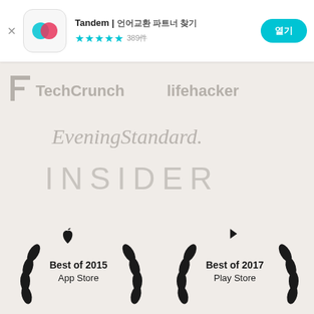Tandem | 언어교환 파트너 찾기  ★★★★☆ 389件  열기
[Figure (logo): TechCrunch logo (grey)]
[Figure (logo): Lifehacker logo (grey)]
[Figure (logo): Evening Standard logo (grey italic serif)]
[Figure (logo): INSIDER logo (grey spaced caps)]
[Figure (infographic): Best of 2015 App Store award badge with laurel wreath and Apple logo]
[Figure (infographic): Best of 2017 Play Store award badge with laurel wreath and Play Store logo]